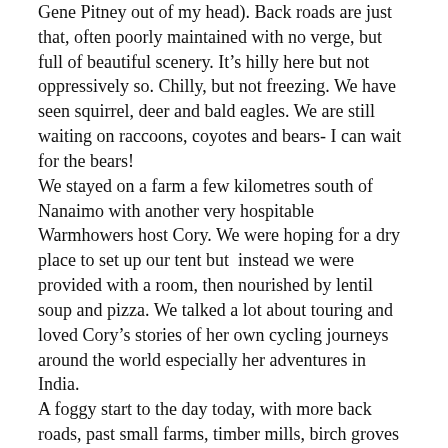Gene Pitney out of my head). Back roads are just that, often poorly maintained with no verge, but full of beautiful scenery. It's hilly here but not oppressively so. Chilly, but not freezing. We have seen squirrel, deer and bald eagles. We are still waiting on raccoons, coyotes and bears- I can wait for the bears! We stayed on a farm a few kilometres south of Nanaimo with another very hospitable Warmhowers host Cory. We were hoping for a dry place to set up our tent but instead we were provided with a room, then nourished by lentil soup and pizza. We talked a lot about touring and loved Cory's stories of her own cycling journeys around the world especially her adventures in India. A foggy start to the day today, with more back roads, past small farms, timber mills, birch groves and maple forest. We had breakfast in the delightful town of Ladysmith, a former coal mining, come timber and fishing town which is now having a renaissance with coffee shops and antiques etc. Cory had recommended the cinnamon buns from the Old Town Bakery and it was good- yum! More back roads to Chemainus, a town of murals and Aboriginal history (Native Indian) where we briefly stopped at the small folk museum before cycling to Croften